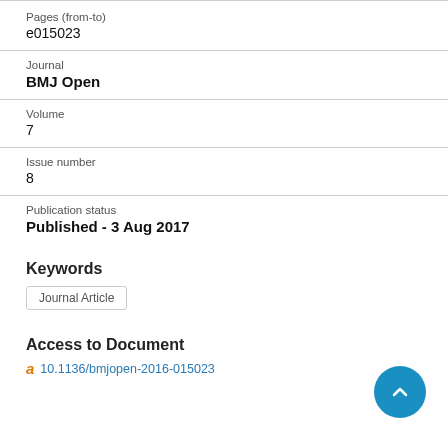Pages (from-to)
e015023
Journal
BMJ Open
Volume
7
Issue number
8
Publication status
Published - 3 Aug 2017
Keywords
Journal Article
Access to Document
10.1136/bmjopen-2016-015023